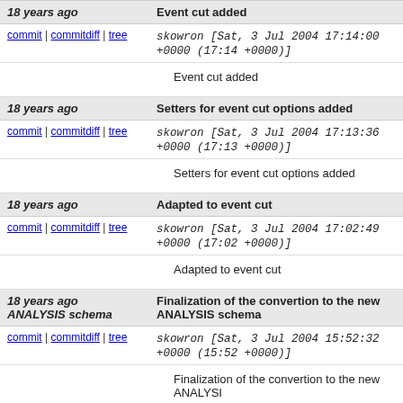| Age | Summary |
| --- | --- |
| 18 years ago | Event cut added |
| commit | commitdiff | tree +0000 (17:14 +0000)] | skowron [Sat, 3 Jul 2004 17:14:00 +0000 (17:14 +0000)] |
|  | Event cut added |
| 18 years ago | Setters for event cut options added |
| commit | commitdiff | tree +0000 (17:13 +0000)] | skowron [Sat, 3 Jul 2004 17:13:36 +0000 (17:13 +0000)] |
|  | Setters for event cut options added |
| 18 years ago | Adapted to event cut |
| commit | commitdiff | tree +0000 (17:02 +0000)] | skowron [Sat, 3 Jul 2004 17:02:49 +0000 (17:02 +0000)] |
|  | Adapted to event cut |
| 18 years ago ANALYSIS schema | Finalization of the convertion to the new ANALYSIS schema |
| commit | commitdiff | tree +0000 (15:52 +0000)] | skowron [Sat, 3 Jul 2004 15:52:32 +0000 (15:52 +0000)] |
|  | Finalization of the convertion to the new ANALYSI |